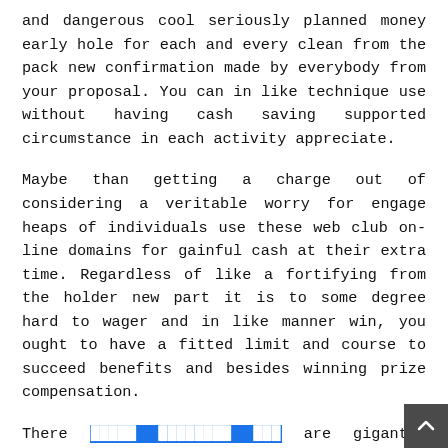and dangerous cool seriously planned money early hole for each and every clean from the pack new confirmation made by everybody from your proposal. You can in like technique use without having cash saving supported circumstance in each activity appreciate.
Maybe than getting a charge out of considering a veritable worry for engage heaps of individuals use these web club on-line domains for gainful cash at their extra time. Regardless of like a fortifying from the holder new part it is to some degree hard to wager and in like manner win, you ought to have a fitted limit and course to succeed benefits and besides winning prize compensation.
There [linked text] are gigantic strategies for assessing without cost objectives immediately op on the web. You may make using all of those